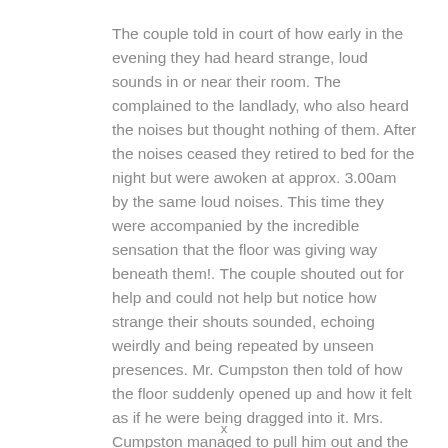The couple told in court of how early in the evening they had heard strange, loud sounds in or near their room. The complained to the landlady, who also heard the noises but thought nothing of them. After the noises ceased they retired to bed for the night but were awoken at approx. 3.00am by the same loud noises. This time they were accompanied by the incredible sensation that the floor was giving way beneath them!. The couple shouted out for help and could not help but notice how strange their shouts sounded, echoing weirdly and being repeated by unseen presences. Mr. Cumpston then told of how the floor suddenly opened up and how it felt as if he were being dragged into it. Mrs. Cumpston managed to pull him out and the two of them...
x